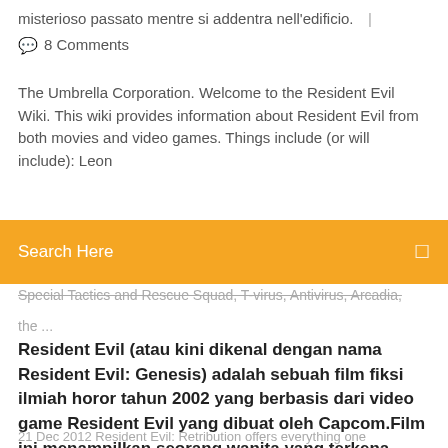misterioso passato mentre si addentra nell'edificio.  |
🗨  8 Comments
The Umbrella Corporation. Welcome to the Resident Evil Wiki. This wiki provides information about Resident Evil from both movies and video games. Things include (or will include): Leon
Search Here
Special Tactics and Rescue Squad, T-virus, Antivirus, Arcadia, the ...
Resident Evil (atau kini dikenal dengan nama Resident Evil: Genesis) adalah sebuah film fiksi ilmiah horor tahun 2002 yang berbasis dari video game Resident Evil yang dibuat oleh Capcom.Film ini menampilkan seorang wanita yang terkena amnesia bernama Alice bersama grup dari Umbrella Corporation yang sedang dalam tugas untuk menyelidiki sebuah fasilitas ...
21 Dec 2012 Resident Evil: Retribution offers everything one